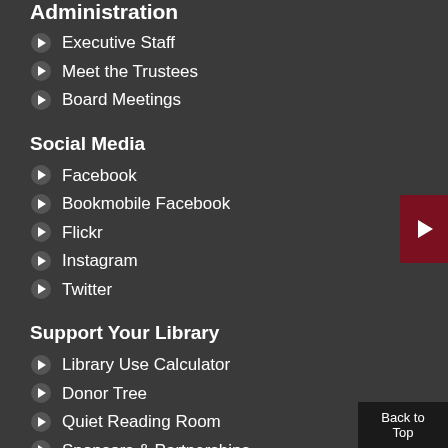Administration
Executive Staff
Meet the Trustees
Board Meetings
Social Media
Facebook
Bookmobile Facebook
Flickr
Instagram
Twitter
Support Your Library
Library Use Calculator
Donor Tree
Quiet Reading Room
Sponsors & Partnerships
Friends
Back to Top